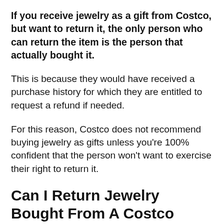If you receive jewelry as a gift from Costco, but want to return it, the only person who can return the item is the person that actually bought it.
This is because they would have received a purchase history for which they are entitled to request a refund if needed.
For this reason, Costco does not recommend buying jewelry as gifts unless you're 100% confident that the person won't want to exercise their right to return it.
Can I Return Jewelry Bought From A Costco Outside The United